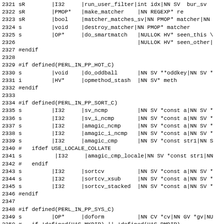2321 sR        |I32     |run_user_filter|int idx|NN SV  bur_sv
2322 sR        |PMOP*   |make_matcher    |NN REGEXP* re
2323 sR        |bool    |matcher_matches_sv|NN PMOP* matcher|NN
2324 s         |void    |destroy_matcher|NN PMOP* matcher
2325 s         |OP*     |do_smartmatch   |NULLOK HV* seen_this\
2326                                    |NULLOK HV* seen_other|
2327 #endif
2328
2329 #if defined(PERL_IN_PP_HOT_C)
2330 s         |void    |do_oddball      |NN SV **oddkey|NN SV *
2331 i         |HV*     |opmethod_stash  |NN SV* meth
2332 #endif
2333
2334 #if defined(PERL_IN_PP_SORT_C)
2335 s         |I32     |sv_ncmp         |NN SV *const a|NN SV *
2336 s         |I32     |sv_i_ncmp       |NN SV *const a|NN SV *
2337 s         |I32     |amagic_ncmp     |NN SV *const a|NN SV *
2338 s         |I32     |amagic_i_ncmp   |NN SV *const a|NN SV *
2339 s         |I32     |amagic_cmp      |NN SV *const str1|NN S
2340 #   ifdef USE_LOCALE_COLLATE
2341 s          |I32     |amagic_cmp_locale|NN SV *const str1|NN
2342 #   endif
2343 s         |I32     |sortcv          |NN SV *const a|NN SV *
2344 s         |I32     |sortcv_xsub     |NN SV *const a|NN SV *
2345 s         |I32     |sortcv_stacked  |NN SV *const a|NN SV *
2346 #endif
2347
2348 #if defined(PERL_IN_PP_SYS_C)
2349 s         |OP*     |doform          |NN CV *cv|NN GV *gv|NU
2350 #   if !defined(HAS_MKDIR) || !defined(HAS_RMDIR)
2351 sR        |int     |dooneliner      |NN const char *cmd|NN
2352 #   endif
2353 s         |SV *    |space_join_names_mortal|NULLOK char